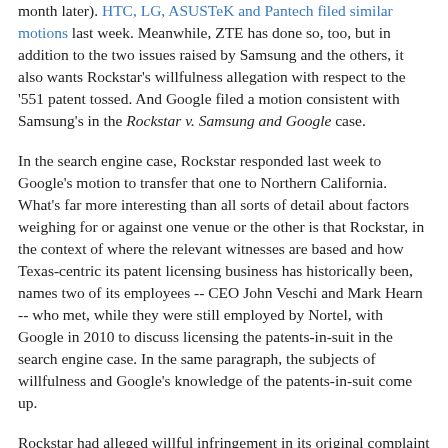month later). HTC, LG, ASUSTeK and Pantech filed similar motions last week. Meanwhile, ZTE has done so, too, but in addition to the two issues raised by Samsung and the others, it also wants Rockstar's willfulness allegation with respect to the '551 patent tossed. And Google filed a motion consistent with Samsung's in the Rockstar v. Samsung and Google case.
In the search engine case, Rockstar responded last week to Google's motion to transfer that one to Northern California. What's far more interesting than all sorts of detail about factors weighing for or against one venue or the other is that Rockstar, in the context of where the relevant witnesses are based and how Texas-centric its patent licensing business has historically been, names two of its employees -- CEO John Veschi and Mark Hearn -- who met, while they were still employed by Nortel, with Google in 2010 to discuss licensing the patents-in-suit in the search engine case. In the same paragraph, the subjects of willfulness and Google's knowledge of the patents-in-suit come up.
Rockstar had alleged willful infringement in its original complaint against Google, but the complaint itself discussed